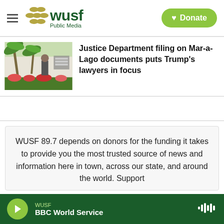WUSF Public Media — Donate
[Figure (photo): Thumbnail photo of person outside building with palm trees, Mar-a-Lago area]
Justice Department filing on Mar-a-Lago documents puts Trump's lawyers in focus
WUSF 89.7 depends on donors for the funding it takes to provide you the most trusted source of news and information here in town, across our state, and around the world. Support WUSF...
WUSF — BBC World Service